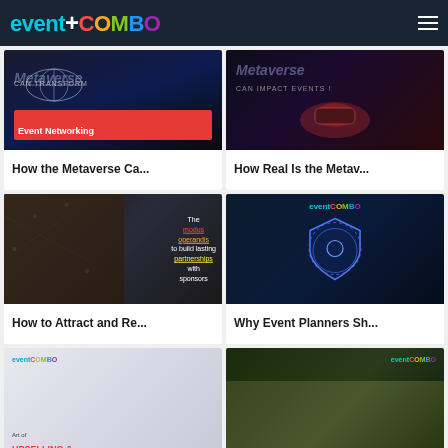eventCOMBO
[Figure (screenshot): Article card: Metaverse transforming event networking, dark blue background with globe graphic and red banner saying Event Networking]
How the Metaverse Ca...
[Figure (screenshot): Article card: How real is the metaverse for events, dark background with VR headset glowing red/purple]
How Real Is the Metav...
[Figure (screenshot): Article card: The modus operandis to build lasting partnerships with sponsors, dark background with handshake image]
How to Attract and Re...
[Figure (screenshot): Article card: Why event planners should care about security, dark blue background with shield/lock graphic and eventCOMBO logo]
Why Event Planners Sh...
[Figure (screenshot): Article card: Art of upselling, light grey background with eventCOMBO logo]
[Figure (screenshot): Article card: Food/catering related article, dark green background with eventCOMBO logo and food image]